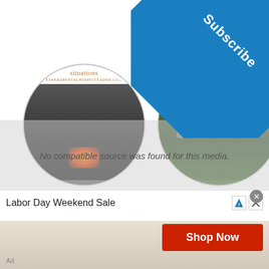[Figure (other): Blue subscribe corner banner in top-right triangle shape with white bold text 'Subscribe']
[Figure (photo): Circular thumbnail showing dark smoky/fire scene with site header text 'situations' and website URL]
[Figure (photo): Circular thumbnail showing green outdoor/nature scene with hand, site header text 'Growing Great' and website URL]
No compatible source was found for this media.
Labor Day Weekend Sale
Shop Now
Ad